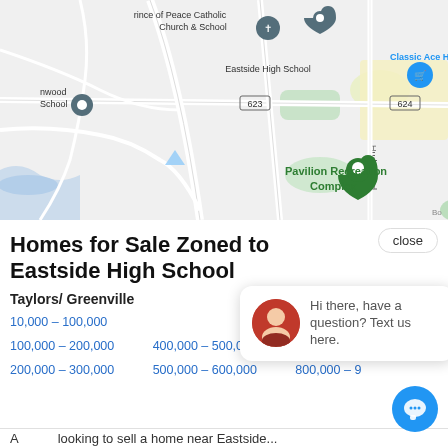[Figure (map): Google Maps view showing Eastside High School, Prince of Peace Catholic Church & School, Classic Ace Hardware, Pavilion Recreation Complex, Hudson Rd, roads 623 and 624]
Homes for Sale Zoned to Eastside High School
Taylors/ Greenville
10,000 – 100,000
100,000 – 200,000
400,000 – 500,000
700,000 – 800,000
200,000 – 300,000
500,000 – 600,000
800,000 – 9...
Hi there, have a question? Text us here.